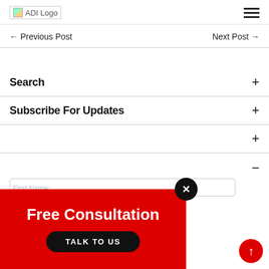ADI Logo [hamburger menu]
← Previous Post    Next Post →
Search +
Subscribe For Updates +
+ (collapsed section)
− (expanded section)
[Figure (infographic): Red popup banner with 'Free Consultation' heading and 'TALK TO US' black pill button, with a close (X) button in the top right corner]
[Figure (other): Red scroll-to-top arrow button in bottom right]
First Name: